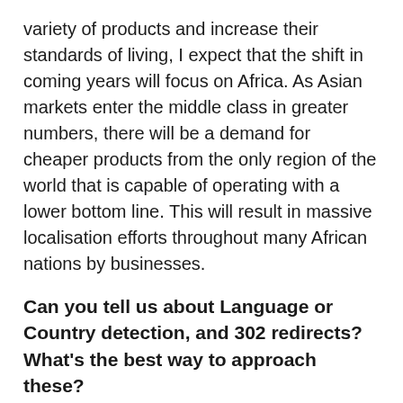variety of products and increase their standards of living, I expect that the shift in coming years will focus on Africa. As Asian markets enter the middle class in greater numbers, there will be a demand for cheaper products from the only region of the world that is capable of operating with a lower bottom line. This will result in massive localisation efforts throughout many African nations by businesses.
Can you tell us about Language or Country detection, and 302 redirects? What's the best way to approach these?
Language and country detection can be very useful in the world of localisation, as it helps automatically identify where a visitor lives or what language he or she speaks, and then proceeds to show them relevant content. There are some flaws with several methods of detection used out there, and I admit that it can be